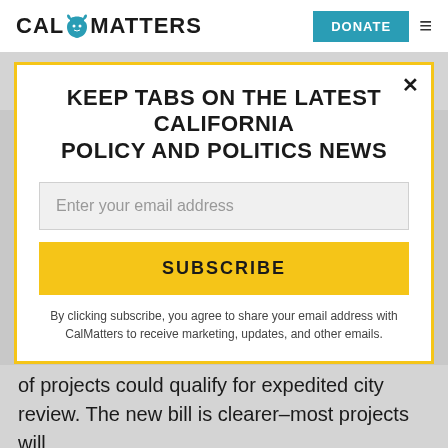CAL MATTERS | DONATE
bill package
KEEP TABS ON THE LATEST CALIFORNIA POLICY AND POLITICS NEWS
Enter your email address
SUBSCRIBE
By clicking subscribe, you agree to share your email address with CalMatters to receive marketing, updates, and other emails.
of projects could qualify for expedited city review. The new bill is clearer–most projects will still need to submit to an environmental review